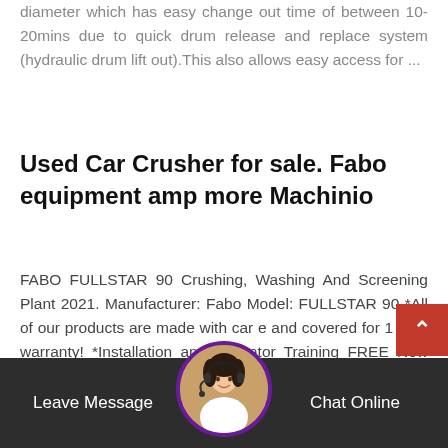diameter which has easy change out time of between 10-20mins due to quick drum release and replace system (hydraulic drum lift out).This also allows easy access for ...
Used Car Crusher for sale. Fabo equipment amp more Machinio
FABO FULLSTAR 90 Crushing, Washing And Screening Plant 2021. Manufacturer: Fabo Model: FULLSTAR 90 *All of our products are made with car e and covered for 1 year warranty! *Installation and Operator Training FREE New Generation FULLSTAR Series Mobile Crushing, Screening and Washing Plants are the most pref...
China Used Screen Crusher, Used Screen Crusher